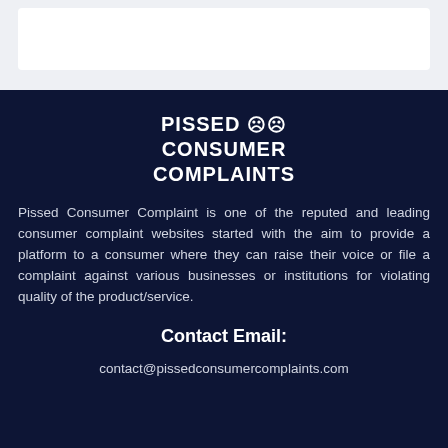[Figure (logo): Pissed Consumer Complaints logo with sad face emoji icons]
Pissed Consumer Complaint is one of the reputed and leading consumer complaint websites started with the aim to provide a platform to a consumer where they can raise their voice or file a complaint against various businesses or institutions for violating quality of the product/service.
Contact Email:
contact@pissedconsumercomplaints.com